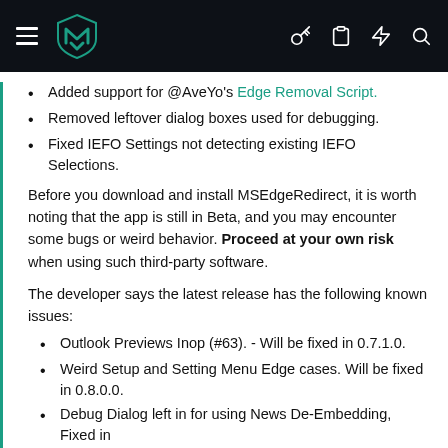Navigation header with logo and icons
Added support for @AveYo's Edge Removal Script.
Removed leftover dialog boxes used for debugging.
Fixed IEFO Settings not detecting existing IEFO Selections.
Before you download and install MSEdgeRedirect, it is worth noting that the app is still in Beta, and you may encounter some bugs or weird behavior. Proceed at your own risk when using such third-party software.
The developer says the latest release has the following known issues:
Outlook Previews Inop (#63). - Will be fixed in 0.7.1.0.
Weird Setup and Setting Menu Edge cases. Will be fixed in 0.8.0.0.
Debug Dialog left in for using News De-Embedding, Fixed in latest dev build.
You can download MSEdgeRedirect 0.7.0.0 from its repo on GitHub